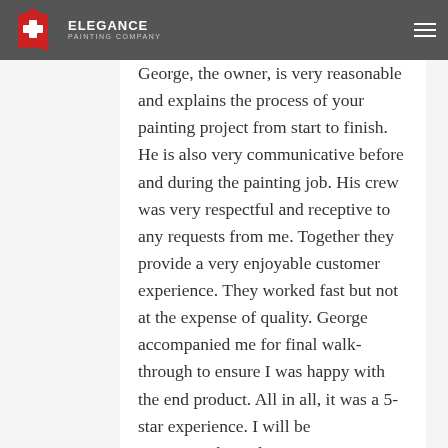[Figure (logo): Elegance Painting Company logo — red paint bucket icon on left, white text 'ELEGANCE' and 'PAINTING COMPANY' on right, displayed in dark grey navigation bar]
George, the owner, is very reasonable and explains the process of your painting project from start to finish. He is also very communicative before and during the painting job. His crew was very respectful and receptive to any requests from me. Together they provide a very enjoyable customer experience. They worked fast but not at the expense of quality. George accompanied me for final walk-through to ensure I was happy with the end product. All in all, it was a 5-star experience. I will be recommending Elegance